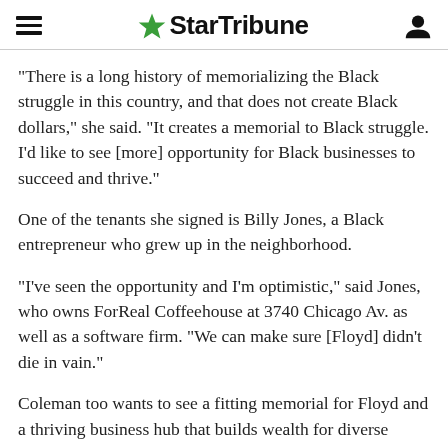StarTribune
"There is a long history of memorializing the Black struggle in this country, and that does not create Black dollars," she said. "It creates a memorial to Black struggle. I'd like to see [more] opportunity for Black businesses to succeed and thrive."
One of the tenants she signed is Billy Jones, a Black entrepreneur who grew up in the neighborhood.
"I've seen the opportunity and I'm optimistic," said Jones, who owns ForReal Coffeehouse at 3740 Chicago Av. as well as a software firm. "We can make sure [Floyd] didn't die in vain."
Coleman too wants to see a fitting memorial for Floyd and a thriving business hub that builds wealth for diverse owners and enables the neighborhood to prosper. He said he's encouraged that the neighborhood is experiencing less criminal activity and that some new businesses are opening.